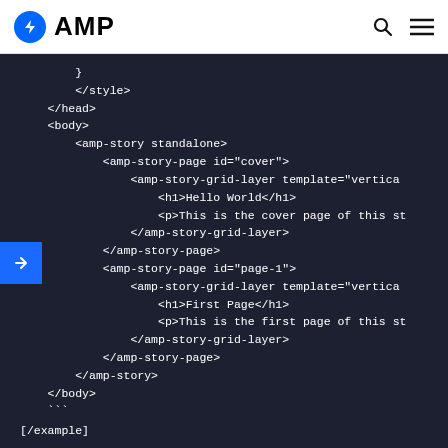AMP
[Figure (screenshot): AMP documentation page showing a code block with HTML markup for an AMP story, including amp-story-page elements with grid layers, h1 and p tags, and a blue arrow navigation button on the left side.]
[/example]